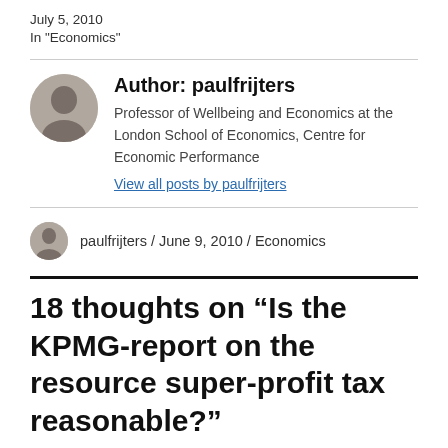July 5, 2010
In "Economics"
Author: paulfrijters
Professor of Wellbeing and Economics at the London School of Economics, Centre for Economic Performance
View all posts by paulfrijters
paulfrijters / June 9, 2010 / Economics
18 thoughts on “Is the KPMG-report on the resource super-profit tax reasonable?”